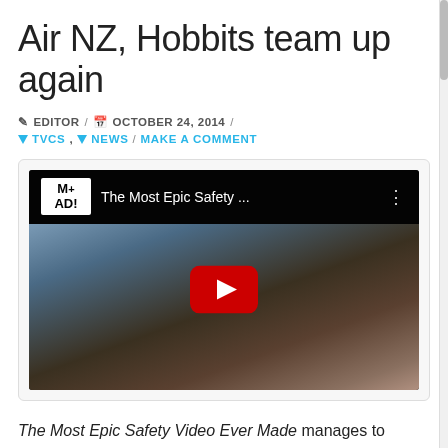Air NZ, Hobbits team up again
✎ EDITOR / 📅 OCTOBER 24, 2014 /
TVCS, NEWS / MAKE A COMMENT
[Figure (screenshot): YouTube video thumbnail showing 'The Most Epic Safety ...' with M+AD! logo and YouTube play button overlay on a dark cinematic background]
The Most Epic Safety Video Ever Made manages to promote the airline, New Zealand as a tourism